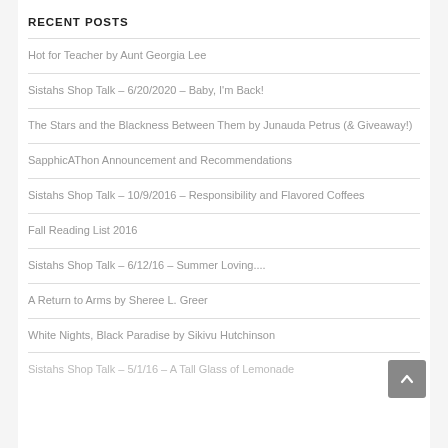RECENT POSTS
Hot for Teacher by Aunt Georgia Lee
Sistahs Shop Talk – 6/20/2020 – Baby, I'm Back!
The Stars and the Blackness Between Them by Junauda Petrus (& Giveaway!)
SapphicAThon Announcement and Recommendations
Sistahs Shop Talk – 10/9/2016 – Responsibility and Flavored Coffees
Fall Reading List 2016
Sistahs Shop Talk – 6/12/16 – Summer Loving....
A Return to Arms by Sheree L. Greer
White Nights, Black Paradise by Sikivu Hutchinson
Sistahs Shop Talk – 5/1/16 – A Tall Glass of Lemonade